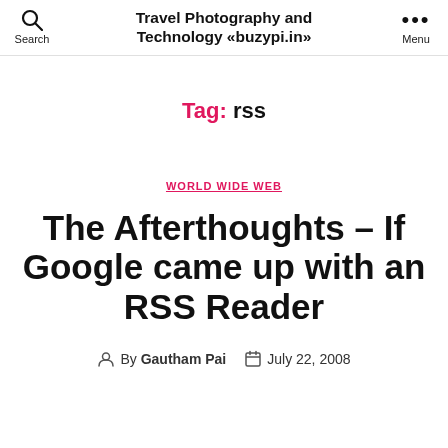Travel Photography and Technology «buzypi.in»
Tag: rss
WORLD WIDE WEB
The Afterthoughts – If Google came up with an RSS Reader
By Gautham Pai  July 22, 2008